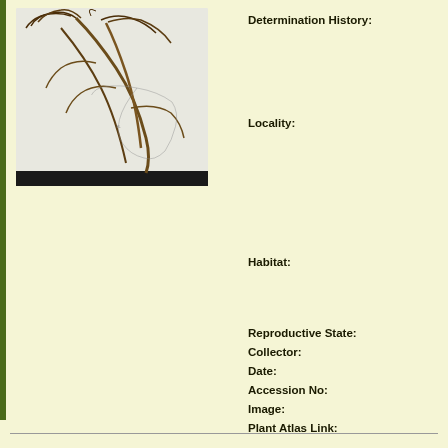[Figure (photo): Herbarium specimen photograph showing dried plant with roots and stems, with a Florida state map inset on the mounting sheet.]
Determination History:
Locality:
Habitat:
Reproductive State:
Collector:
Date:
Accession No:
Image:
Plant Atlas Link: